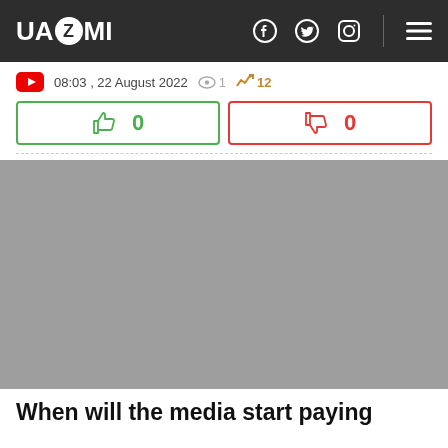UAZMI
08:03 , 22 August 2022  1  12
Like: 0 | Dislike: 0
[Figure (photo): Gray placeholder image area for article thumbnail]
When will the media start paying